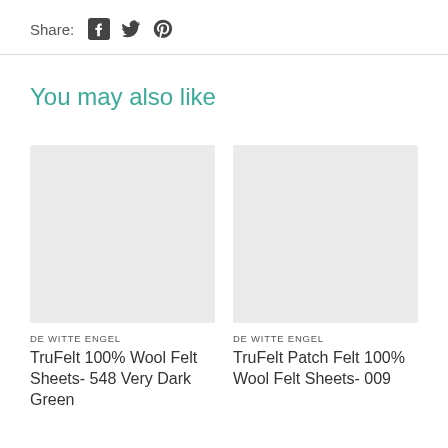Share:
[Figure (infographic): Social share icons: Facebook, Twitter, Pinterest]
You may also like
[Figure (photo): Product image placeholder for TruFelt 100% Wool Felt Sheets- 548 Very Dark Green]
DE WITTE ENGEL
TruFelt 100% Wool Felt Sheets- 548 Very Dark Green
[Figure (photo): Product image placeholder for TruFelt Patch Felt 100% Wool Felt Sheets- 009]
DE WITTE ENGEL
TruFelt Patch Felt 100% Wool Felt Sheets- 009